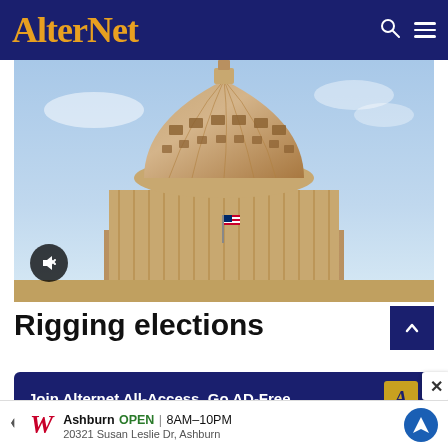AlterNet
[Figure (photo): Photograph of the United States Capitol building dome at dusk/sunset with an American flag visible and a clear sky background. A mute button overlay appears in the lower-left corner of the image.]
Rigging elections
Join Alternet All-Access. Go AD-Free.
Ashburn OPEN 8AM–10PM 20321 Susan Leslie Dr, Ashburn